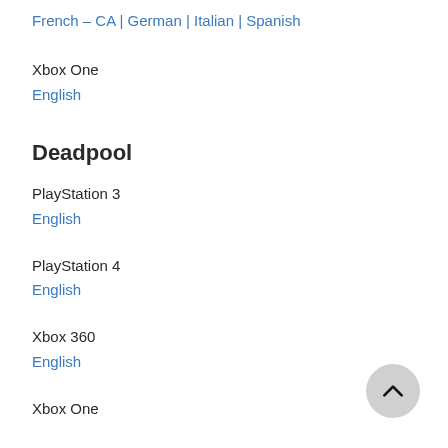French – CA | German | Italian | Spanish
Xbox One
English
Deadpool
PlayStation 3
English
PlayStation 4
English
Xbox 360
English
Xbox One